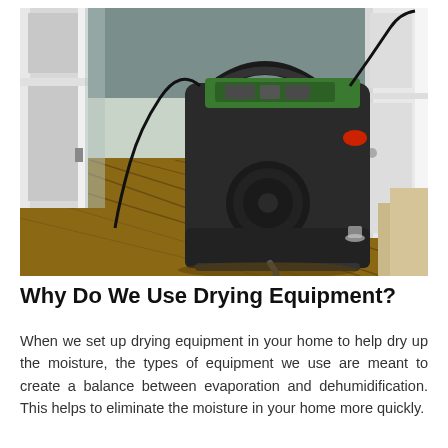[Figure (photo): A large industrial drying/dehumidifier machine (dark grey/black with green top) sitting on old wooden plank flooring inside a room with grey-painted walls and a white door. Black cables run across the floor.]
Why Do We Use Drying Equipment?
When we set up drying equipment in your home to help dry up the moisture, the types of equipment we use are meant to create a balance between evaporation and dehumidification. This helps to eliminate the moisture in your home more quickly.